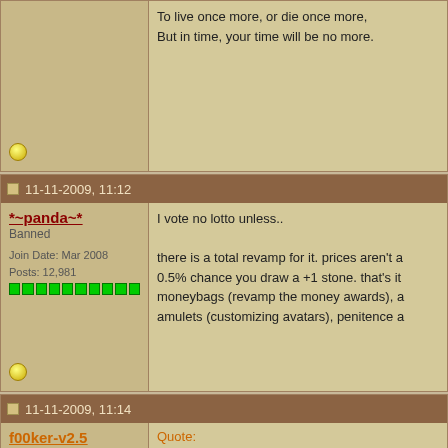To live once more, or die once more,
But in time, your time will be no more.
11-11-2009, 11:12
*~panda~*
Banned
Join Date: Mar 2008
Posts: 12,981
I vote no lotto unless..

there is a total revamp for it. prices aren't a 0.5% chance you draw a +1 stone. that's it moneybags (revamp the money awards), a amulets (customizing avatars), penitence a
11-11-2009, 11:14
f00ker-v2.5
Spamobot
[Figure (photo): Image of a keyboard key labeled BAN in pink/red color]
Quote:
Originally Posted by *~panda~*
I vote no lotto unless..

there is a total revamp for it. prices are about a 0.5% chance you draw a +1 s meteors, moneybags (revamp the mo special avatar amulets (customizing av